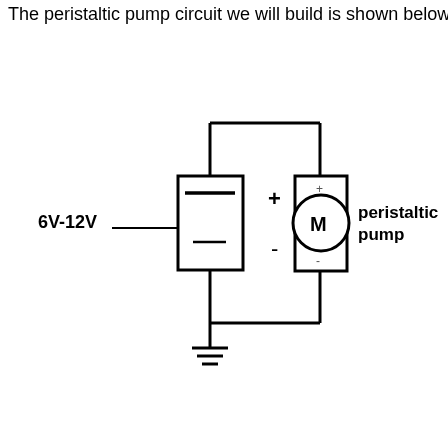The peristaltic pump circuit we will build is shown below
[Figure (circuit-diagram): A simple DC circuit diagram showing a 6V-12V battery (with + and - terminals labeled) connected via wires to a peristaltic pump motor (labeled M, shown as a circle with a square housing and + and - terminals). The circuit has a ground symbol at the bottom center. The battery is on the left, the motor is in the upper right, and wires form a rectangular loop connecting them.]